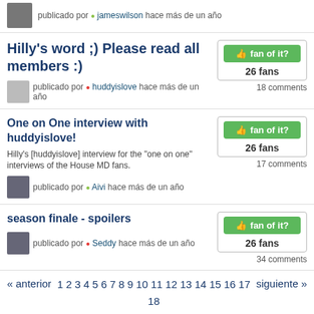publicado por jameswilson hace más de un año
Hilly's word ;) Please read all members :)
publicado por huddyislove hace más de un año
18 comments
One on One interview with huddyislove!
Hilly's [huddyislove] interview for the "one on one" interviews of the House MD fans.
publicado por Aivi hace más de un año
17 comments
season finale - spoilers
publicado por Seddy hace más de un año
34 comments
« anterior  1 2 3 4 5 6 7 8 9 10 11 12 13 14 15 16 17 18 19 20 21 22 23 24 25 26 27 28 29 30 31 32 33 34 35 36 37 38 39 40 41 42 43 44 45 46 47 48 49 50 51 52 53 54 55 56 57 58 59 60 61 62 63 64 65 66 67 68 69 70 71 72 73 74 75 76 77 78 79 80 81 82 83 84  siguiente »